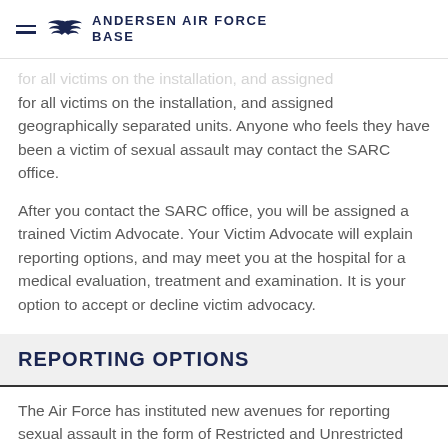ANDERSEN AIR FORCE BASE
for all victims on the installation, and assigned geographically separated units. Anyone who feels they have been a victim of sexual assault may contact the SARC office.
After you contact the SARC office, you will be assigned a trained Victim Advocate. Your Victim Advocate will explain reporting options, and may meet you at the hospital for a medical evaluation, treatment and examination. It is your option to accept or decline victim advocacy.
REPORTING OPTIONS
The Air Force has instituted new avenues for reporting sexual assault in the form of Restricted and Unrestricted